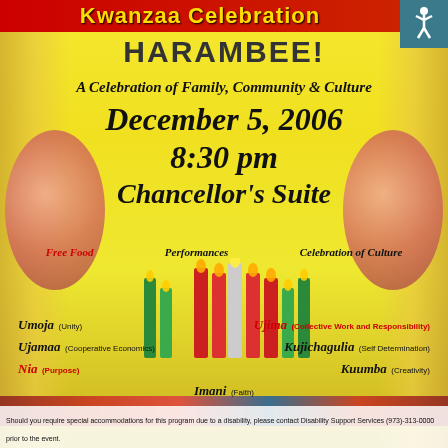Kwanzaa Celebration
HARAMBEE!
A Celebration of Family, Community & Culture
December 5, 2006
8:30 pm
Chancellor's Suite
Free Food
Performances
Celebration of Culture
Umoja (Unity)
Ujima (Collective Work and Responsibility)
Ujamaa (Cooperative Economics)
Kujichagulia (Self Determination)
Nia (Purpose)
Kuumba (Creativity)
Imani (Faith)
Should you require special accommodations for this program due to a disability, please contact Disability Support Services (973)-313-0000 prior to the event.